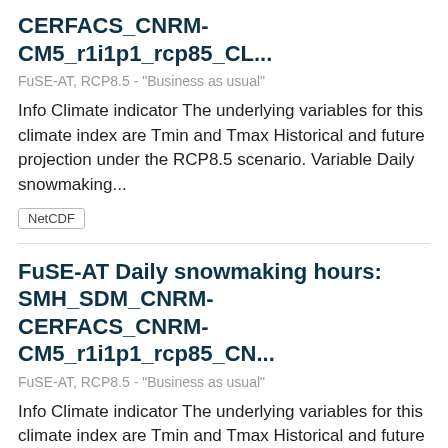CERFACS_CNRM-CM5_r1i1p1_rcp85_CL...
FuSE-AT, RCP8.5 - "Business as usual"
Info Climate indicator The underlying variables for this climate index are Tmin and Tmax Historical and future projection under the RCP8.5 scenario. Variable Daily snowmaking...
NetCDF
FuSE-AT Daily snowmaking hours: SMH_SDM_CNRM-CERFACS_CNRM-CM5_r1i1p1_rcp85_CN...
FuSE-AT, RCP8.5 - "Business as usual"
Info Climate indicator The underlying variables for this climate index are Tmin and Tmax Historical and future projection under the